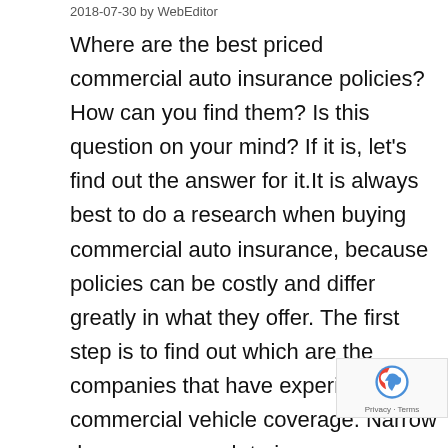2018-07-30 by WebEditor
Where are the best priced commercial auto insurance policies? How can you find them? Is this question on your mind? If it is, let’s find out the answer for it.It is always best to do a research when buying commercial auto insurance, because policies can be costly and differ greatly in what they offer. The first step is to find out which are the companies that have experience in commercial vehicle coverage. Narrow down your search to insurers or brokers that focuses primarily on commercial auto insurance policies, rather than those that offer the service as a bit of sideline to their main business. If auto cover is their main core business, then it is likely they will be very experienced and competitive in that area of the market.Why is there need to get a commercial auto insurance policy? There